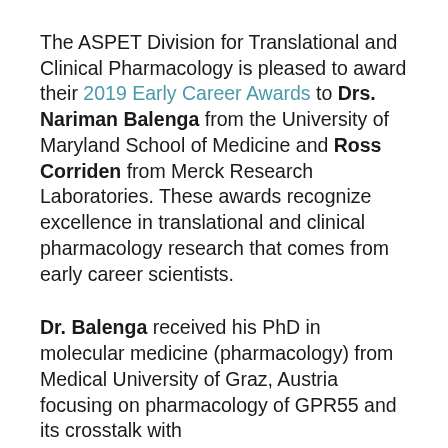The ASPET Division for Translational and Clinical Pharmacology is pleased to award their 2019 Early Career Awards to Drs. Nariman Balenga from the University of Maryland School of Medicine and Ross Corriden from Merck Research Laboratories. These awards recognize excellence in translational and clinical pharmacology research that comes from early career scientists.
Dr. Balenga received his PhD in molecular medicine (pharmacology) from Medical University of Graz, Austria focusing on pharmacology of GPR55 and its crosstalk with